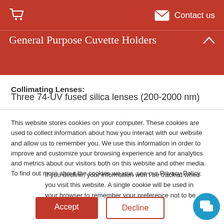General Purpose Cuvette Holders
Collimating Lenses:
Three 74-UV fused silica lenses (200-2000 nm)
This website stores cookies on your computer. These cookies are used to collect information about how you interact with our website and allow us to remember you. We use this information in order to improve and customize your browsing experience and for analytics and metrics about our visitors both on this website and other media. To find out more about the cookies we use, see our Privacy Policy.
If you decline, your information won’t be tracked when you visit this website. A single cookie will be used in your browser to remember your preference not to be tracked.